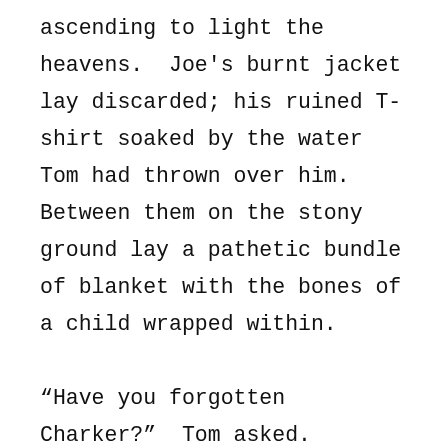ascending to light the heavens.  Joe's burnt jacket lay discarded; his ruined T-shirt soaked by the water Tom had thrown over him.  Between them on the stony ground lay a pathetic bundle of blanket with the bones of a child wrapped within.

“Have you forgotten Charker?”  Tom asked.
© Frederick Anderson 2019.  Unauthorized use and/or duplication of this material without express and written permission from the author is strictly prohibited. Excerpts and links may be used, provided that full and clear credit is given to Frederick Anderson with specific